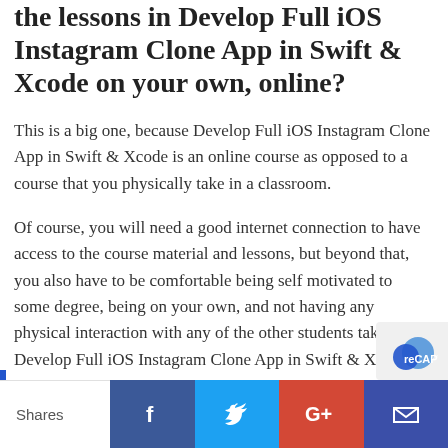the lessons in Develop Full iOS Instagram Clone App in Swift & Xcode on your own, online?
This is a big one, because Develop Full iOS Instagram Clone App in Swift & Xcode is an online course as opposed to a course that you physically take in a classroom.
Of course, you will need a good internet connection to have access to the course material and lessons, but beyond that, you also have to be comfortable being self motivated to some degree, being on your own, and not having any physical interaction with any of the other students taking Develop Full iOS Instagram Clone App in Swift & Xcode.
Yes, you will be able to interact with the students and the teacher, Akhmed Idigov, online, but it's a differen
Shares  [Facebook] [Twitter] [Google+] [Email]